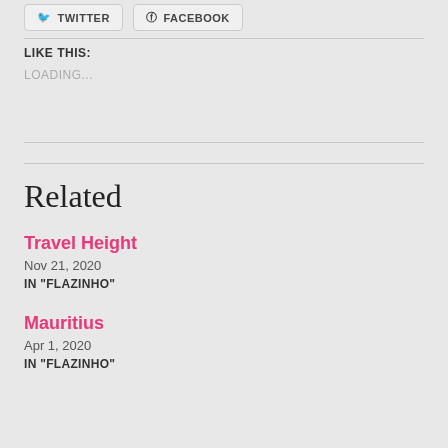TWITTER  FACEBOOK
LIKE THIS:
LOADING...
Related
Travel Height
Nov 21, 2020
IN "FLAZINHO"
Mauritius
Apr 1, 2020
IN "FLAZINHO"